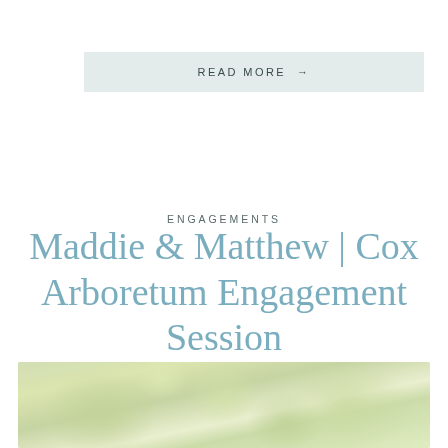READ MORE →
ENGAGEMENTS
Maddie & Matthew | Cox Arboretum Engagement Session
[Figure (photo): Outdoor nature photograph showing green leafy trees with soft bokeh lighting, taken at Cox Arboretum]